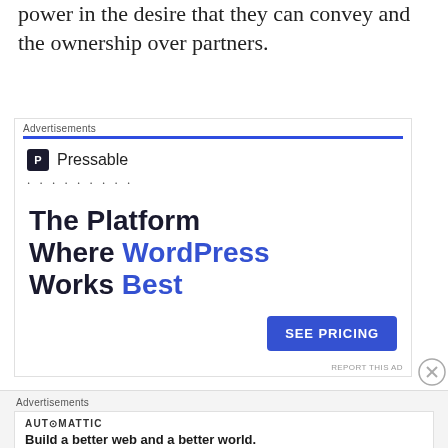power in the desire that they can convey and the ownership over partners.
[Figure (screenshot): Pressable advertisement banner with 'The Platform Where WordPress Works Best' text and 'SEE PRICING' button]
[Figure (screenshot): Automattic advertisement banner with tagline 'Build a better web and a better world.']